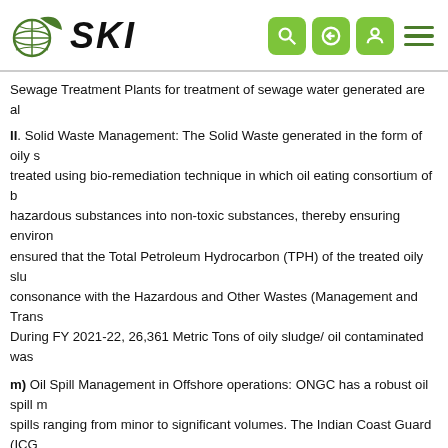SKI logo with navigation icons
Sewage Treatment Plants for treatment of sewage water generated are al
II. Solid Waste Management: The Solid Waste generated in the form of oily s treated using bio-remediation technique in which oil eating consortium of b hazardous substances into non-toxic substances, thereby ensuring environ ensured that the Total Petroleum Hydrocarbon (TPH) of the treated oily slu consonance with the Hazardous and Other Wastes (Management and Trans During FY 2021-22, 26,361 Metric Tons of oily sludge/ oil contaminated was
m) Oil Spill Management in Offshore operations: ONGC has a robust oil spill m spills ranging from minor to significant volumes. The Indian Coast Guard (ICG coordinating authority by the Government of India for combating oil spills in prevention and control. As per the National Oil Spill Disaster Contingency Pla is maintaining its own Tier-I oil spill response equipment and manpower onb operational area. For Tier-II level oil spill, ONGC is relying on Indian Coast Gua for Tier-III oil spill, ONGC is maintaining participant membership of Oil Spill Re which ONGC is having guaranteed response and access to OSRL's worldwide r Skimmers, Oil Spill Dispersants stockpile, storage equipment, specialized e